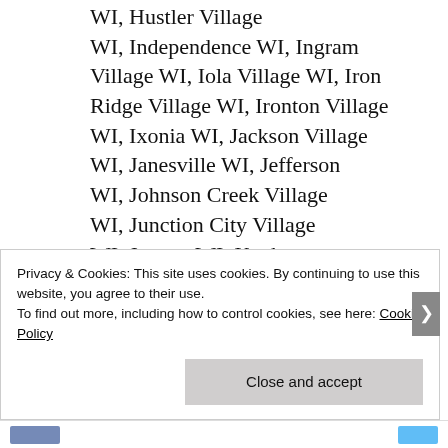WI, Hustler Village
WI, Independence WI, Ingram Village WI, Iola Village WI, Iron Ridge Village WI, Ironton Village WI, Ixonia WI, Jackson Village WI, Janesville WI, Jefferson WI, Johnson Creek Village WI, Junction City Village WI, Juneau WI, Kaukauna WI, Kekoskee Village
WI, Kellnersville Village
Privacy & Cookies: This site uses cookies. By continuing to use this website, you agree to their use.
To find out more, including how to control cookies, see here: Cookie Policy